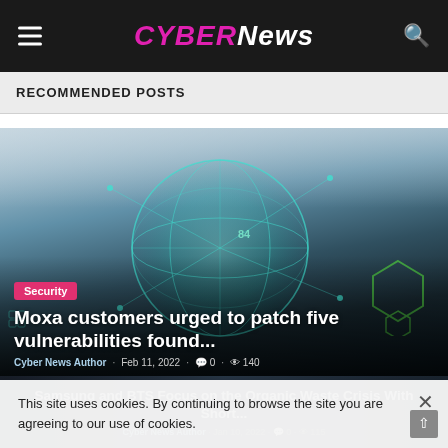CYBERNews
RECOMMENDED POSTS
[Figure (photo): Cybersecurity themed image with a glowing teal holographic globe surrounded by digital network icons against a cloudy sky background]
Security
Moxa customers urged to patch five vulnerabilities found...
Cyber News Author  Feb 11, 2022  0  140
[Figure (photo): Dark background image partially visible with text about Samsung and BTS Focus on the Organic Waste Crisis With Short...]
Cyber News Author  Jan 10, 2022  0  115
This site uses cookies. By continuing to browse the site you are agreeing to our use of cookies.